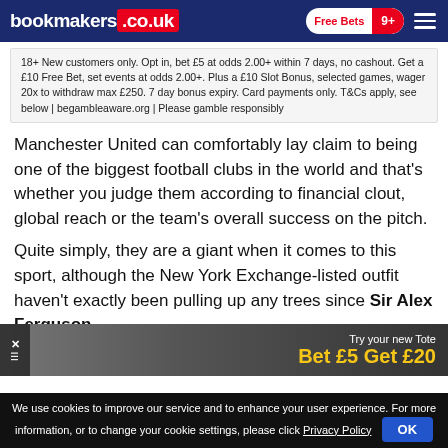bookmakers.co.uk — Free Bets 9+
18+ New customers only. Opt in, bet £5 at odds 2.00+ within 7 days, no cashout. Get a £10 Free Bet, set events at odds 2.00+. Plus a £10 Slot Bonus, selected games, wager 20x to withdraw max £250. 7 day bonus expiry. Card payments only. T&Cs apply, see below | begambleaware.org | Please gamble responsibly
Manchester United can comfortably lay claim to being one of the biggest football clubs in the world and that's whether you judge them according to financial clout, global reach or the team's overall success on the pitch.
Quite simply, they are a giant when it comes to this sport, although the New York Exchange-listed outfit haven't exactly been pulling up any trees since Sir Alex Ferguson
We use cookies to improve our service and to enhance your user experience. For more information, or to change your cookie settings, please click Privacy Policy    OK